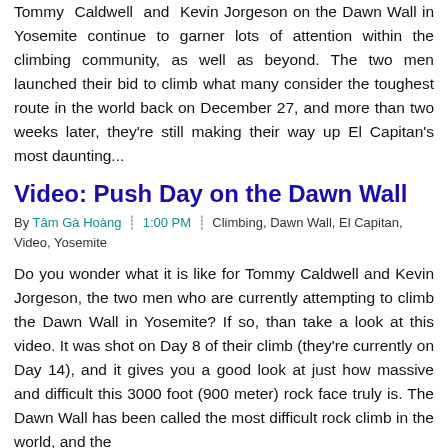Tommy Caldwell and Kevin Jorgeson on the Dawn Wall in Yosemite continue to garner lots of attention within the climbing community, as well as beyond. The two men launched their bid to climb what many consider the toughest route in the world back on December 27, and more than two weeks later, they're still making their way up El Capitan's most daunting...
Video: Push Day on the Dawn Wall
By Tâm Gà Hoàng | 1:00 PM | Climbing, Dawn Wall, El Capitan, Video, Yosemite
Do you wonder what it is like for Tommy Caldwell and Kevin Jorgeson, the two men who are currently attempting to climb the Dawn Wall in Yosemite? If so, than take a look at this video. It was shot on Day 8 of their climb (they're currently on Day 14), and it gives you a good look at just how massive and difficult this 3000 foot (900 meter) rock face truly is. The Dawn Wall has been called the most difficult rock climb in the world, and the...